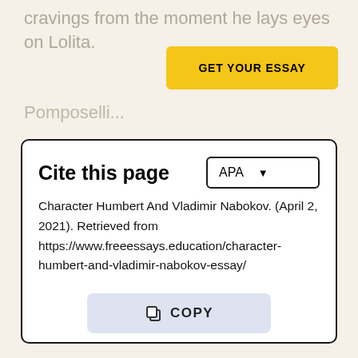cravings from the moment he lays eyes on Lolita.
GET YOUR ESSAY
Pomposelli...
Cite this page
Character Humbert And Vladimir Nabokov. (April 2, 2021). Retrieved from https://www.freeessays.education/character-humbert-and-vladimir-nabokov-essay/
COPY